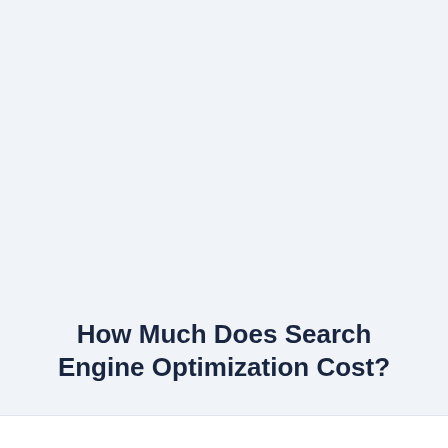How Much Does Search Engine Optimization Cost?